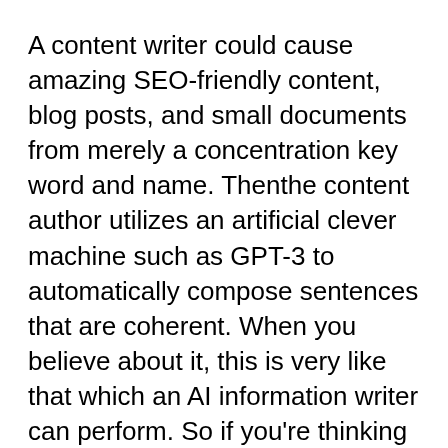A content writer could cause amazing SEO-friendly content, blog posts, and small documents from merely a concentration key word and name. Thenthe content author utilizes an artificial clever machine such as GPT-3 to automatically compose sentences that are coherent. When you believe about it, this is very like that which an AI information writer can perform. So if you're thinking about, will you use a write-up re writer to compose your articles, the answer will be sure.
Content creation is fundamentally the donation of articles on some networking and